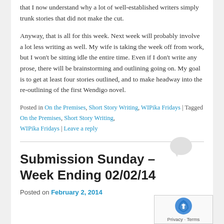that I now understand why a lot of well-established writers simply trunk stories that did not make the cut.
Anyway, that is all for this week. Next week will probably involve a lot less writing as well. My wife is taking the week off from work, but I won't be sitting idle the entire time. Even if I don't write any prose, there will be brainstorming and outlining going on. My goal is to get at least four stories outlined, and to make headway into the re-outlining of the first Wendigo novel.
Posted in On the Premises, Short Story Writing, WIPika Fridays | Tagged On the Premises, Short Story Writing, WIPika Fridays | Leave a reply
Submission Sunday – Week Ending 02/02/14
Posted on February 2, 2014